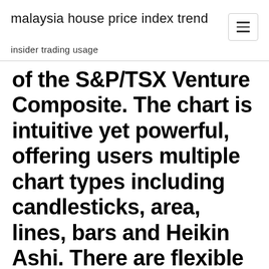malaysia house price index trend
insider trading usage
of the S&P/TSX Venture Composite. The chart is intuitive yet powerful, offering users multiple chart types including candlesticks, area, lines, bars and Heikin Ashi. There are flexible customization options and dozens of tools to help you understand where